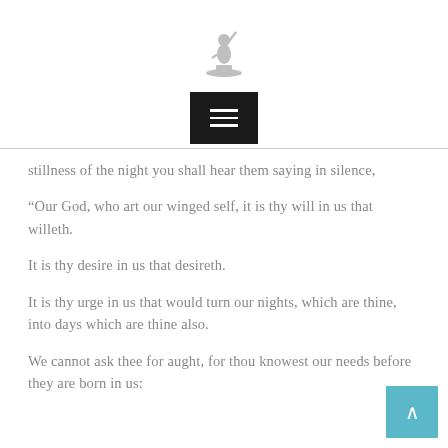[Figure (logo): Small decorative figure/statue logo at the top center of the page]
[Figure (screenshot): Dark hamburger menu button with three white horizontal lines]
stillness of the night you shall hear them saying in silence,
“Our God, who art our winged self, it is thy will in us that willeth.
It is thy desire in us that desireth.
It is thy urge in us that would turn our nights, which are thine, into days which are thine also.
We cannot ask thee for aught, for thou knowest our needs before they are born in us: